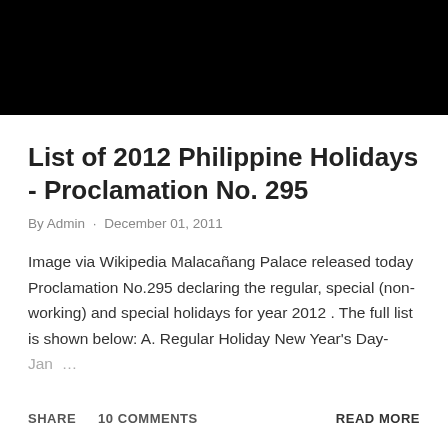[Figure (photo): Black image banner at the top of the page]
List of 2012 Philippine Holidays - Proclamation No. 295
By Admin · December 01, 2011
Image via Wikipedia Malacañang Palace released today Proclamation No.295 declaring the regular, special (non-working) and special holidays for year 2012 . The full list is shown below: A. Regular Holiday New Year's Day- Jan …
SHARE   10 COMMENTS   READ MORE